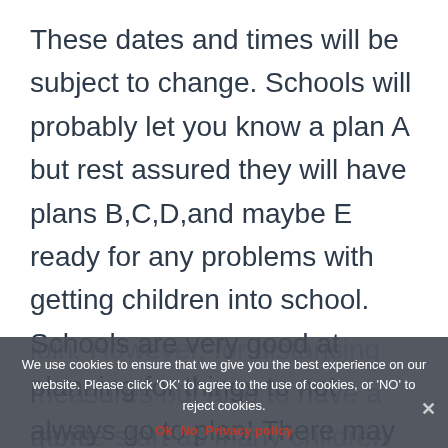These dates and times will be subject to change. Schools will probably let you know a plan A but rest assured they will have plans B,C,D,and maybe E ready for any problems with getting children into school. Schools are very good at planning for things to not always go to plan! There may be a more staggered start this year to enable smaller groups of children to join. However, for distancing measures but also to have a more gentle start as many children are likely to have missed pre-school and
We use cookies to ensure that we give you the best experience on our website. Please click 'OK' to agree to the use of cookies, or 'NO' to reject cookies.